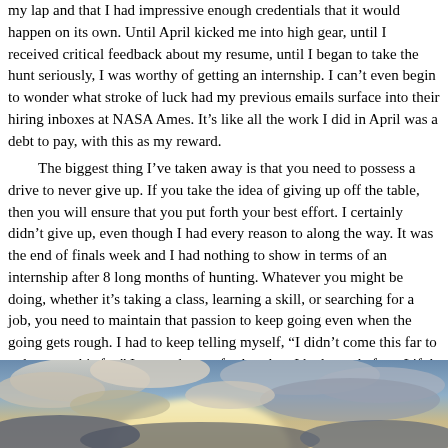my lap and that I had impressive enough credentials that it would happen on its own. Until April kicked me into high gear, until I received critical feedback about my resume, until I began to take the hunt seriously, I was worthy of getting an internship. I can't even begin to wonder what stroke of luck had my previous emails surface into their hiring inboxes at NASA Ames. It's like all the work I did in April was a debt to pay, with this as my reward.
The biggest thing I've taken away is that you need to possess a drive to never give up. If you take the idea of giving up off the table, then you will ensure that you put forth your best effort. I certainly didn't give up, even though I had every reason to along the way. It was the end of finals week and I had nothing to show in terms of an internship after 8 long months of hunting. Whatever you might be doing, whether it's taking a class, learning a skill, or searching for a job, you need to maintain that passion to keep going even when the going gets rough. I had to keep telling myself, "I didn't come this far to only come this far." I wanted to go further than I had ever before. Life's struggles are the best teacher and something that everyone has to experience on their own to truly understand. I'm certainly not done with my struggles, but if anything, I'm better equipped for the future. Those of you reading this, if you take anything home from it, please remember that you should never give up, never surrender. Your hard work will pay off in the end.
[Figure (photo): A sky photograph showing clouds with sunlight breaking through, taken from below looking upward. The sky has a warm golden-blue tone.]